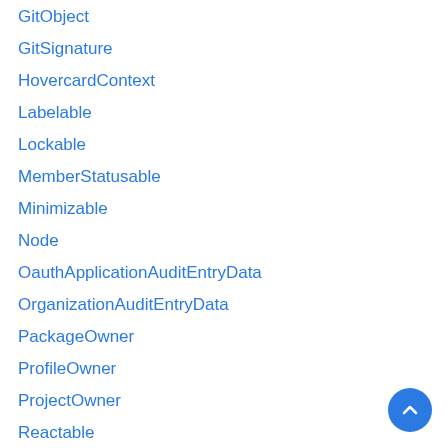GitObject
GitSignature
HovercardContext
Labelable
Lockable
MemberStatusable
Minimizable
Node
OauthApplicationAuditEntryData
OrganizationAuditEntryData
PackageOwner
ProfileOwner
ProjectOwner
Reactable
RegistryPackageOwner
RegistryPackageSearch
RepositoryAuditEntryData
RepositoryInfo